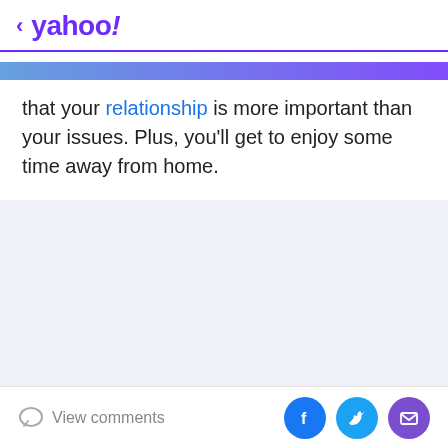< yahoo!
that your relationship is more important than your issues. Plus, you'll get to enjoy some time away from home.
[Figure (other): Gray/blue advertisement placeholder area]
View comments | Facebook share | Twitter share | Email share